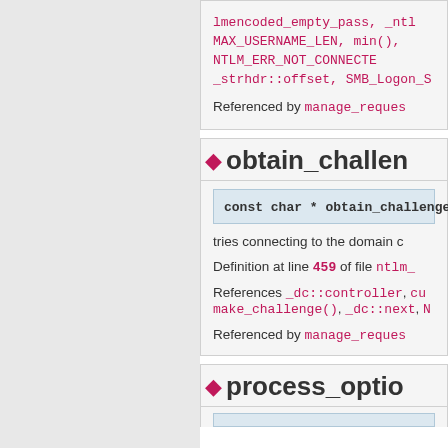lmencoded_empty_pass, _ntl MAX_USERNAME_LEN, min(), NTLM_ERR_NOT_CONNECTE _strhdr::offset, SMB_Logon_S
Referenced by manage_reques
obtain_challen
const char * obtain_challenge (
tries connecting to the domain c
Definition at line 459 of file ntlm_
References _dc::controller, cu make_challenge(), _dc::next, N
Referenced by manage_reques
process_optio